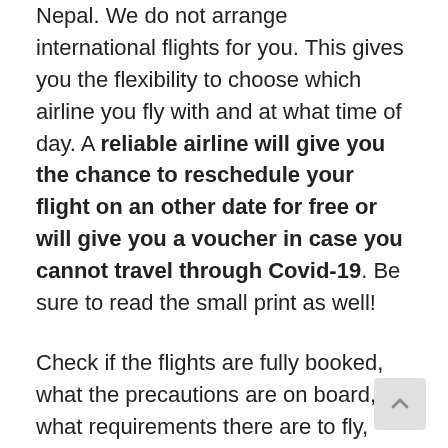Nepal. We do not arrange international flights for you. This gives you the flexibility to choose which airline you fly with and at what time of day. A reliable airline will give you the chance to reschedule your flight on an other date for free or will give you a voucher in case you cannot travel through Covid-19. Be sure to read the small print as well!
Check if the flights are fully booked, what the precautions are on board, what requirements there are to fly, what rules they have, if you have to change terminals,... It also seems best to us to limit the connection time with the next flight, so that you don't have to stay too long in the airport.
We ourselves have a good experience with Qatar Airways, which flies several times a day to